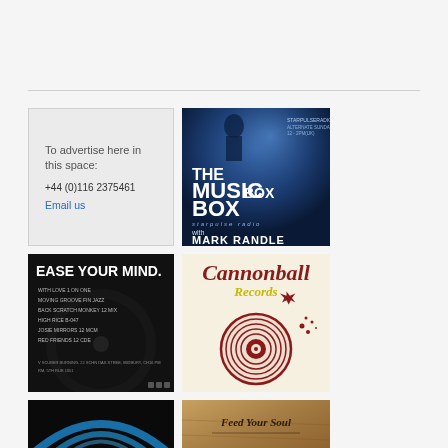[Figure (illustration): Advertising placeholder box with text 'To advertise here in this space:' phone number +44 (0)116 2375461 and email link]
To advertise here in this space:
+44 (0)116 2375461
Email us
[Figure (photo): The Music Box with Mark Randle - radio show promotional image on dark blue background with spotlight lighting]
[Figure (illustration): Ease Your Mind - dark vinyl record themed flyer with tracklist]
[Figure (logo): Cannonball Records logo - red cannonball/record graphic on cream background with italic script text]
[Figure (illustration): Bottom left image - black background with blue arc/rainbow graphic]
[Figure (photo): Bottom right image - Feed Your Soul text on brownish/vintage background]